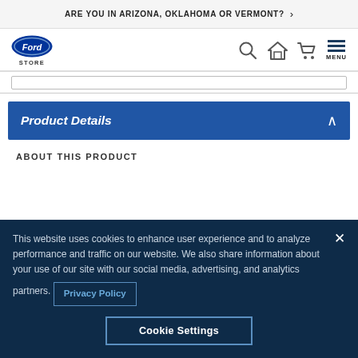ARE YOU IN ARIZONA, OKLAHOMA OR VERMONT?
[Figure (logo): Ford Store logo with blue oval Ford emblem and STORE text below]
Product Details
ABOUT THIS PRODUCT
This website uses cookies to enhance user experience and to analyze performance and traffic on our website. We also share information about your use of our site with our social media, advertising, and analytics partners. Privacy Policy
Cookie Settings